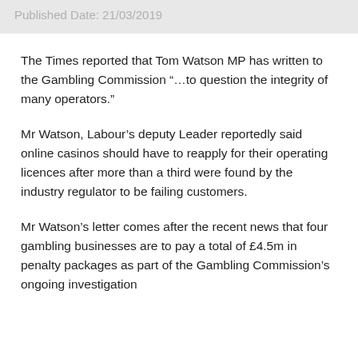Published Date: 21/03/2019
The Times reported that Tom Watson MP has written to the Gambling Commission “…to question the integrity of many operators.”
Mr Watson, Labour’s deputy Leader reportedly said online casinos should have to reapply for their operating licences after more than a third were found by the industry regulator to be failing customers.
Mr Watson’s letter comes after the recent news that four gambling businesses are to pay a total of £4.5m in penalty packages as part of the Gambling Commission’s ongoing investigation